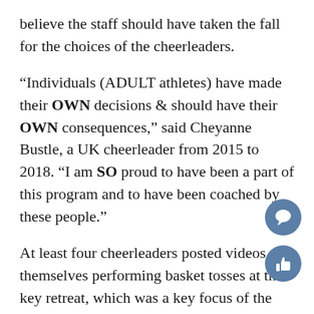believe the staff should have taken the fall for the choices of the cheerleaders.
“Individuals (ADULT athletes) have made their OWN decisions & should have their OWN consequences,” said Cheyanne Bustle, a UK cheerleader from 2015 to 2018. “I am SO proud to have been a part of this program and to have been coached by these people.”
At least four cheerleaders posted videos of themselves performing basket tosses at the key retreat, which was a key focus of the investigation.
Other cheerleaders tweeted about the reporting parent who first brought the incidents to the university’s attention.
“Our coaches have been FIRED over FALSE accusations,”
[Figure (illustration): Two circular icon buttons on the right side: a speech bubble (comment) icon and a thumbs-up (like) icon, both in steel blue.]